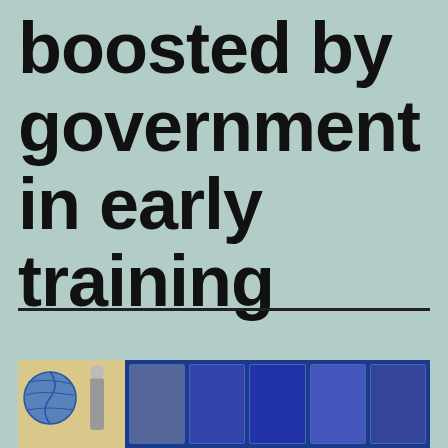boosted by government in early training
[Figure (photo): A classroom scene showing children's work displayed, with a globe or round object on the left side and a blue display board with photographs of students on the right side.]